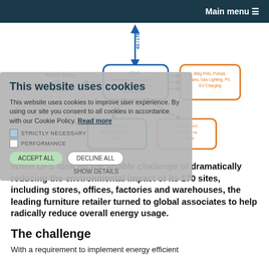Main menu ☰
[Figure (schematic): Diagram showing a SmartServer Edge Controller with LoRaWAN and 4G Connectivity connected to Retail Store / Office / School, Pumps/Lighting/EV Charging loads, LoRaWAN D2D / Temp/Amps/VOC/Vibration sensors, and a Packaged A/C Condition Monitoring Controller. Arrows indicate 4G/LTE and Modbus connections.]
This website uses cookies
This website uses cookies to improve user experience. By using our site you consent to all cookies in accordance with our Cookie Policy. Read more
STRICTLY NECESSARY
PERFORMANCE
DECLINE ALL
SHOW DETAILS
When DFS took on the sizable challenge of dramatically reducing the environmental impact of its 170 sites, including stores, offices, factories and warehouses, the leading furniture retailer turned to global associates to help radically reduce overall energy usage.
The challenge
With a requirement to implement energy efficient